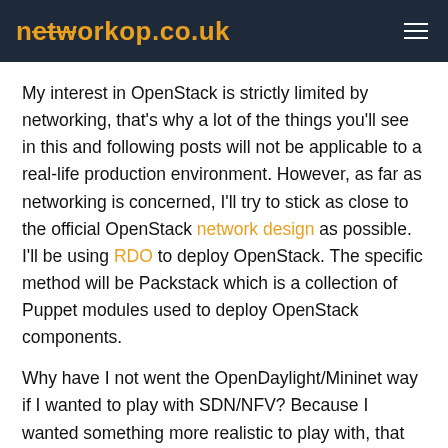networkop.co.uk
My interest in OpenStack is strictly limited by networking, that's why a lot of the things you'll see in this and following posts will not be applicable to a real-life production environment. However, as far as networking is concerned, I'll try to stick as close to the official OpenStack network design as possible. I'll be using RDO to deploy OpenStack. The specific method will be Packstack which is a collection of Puppet modules used to deploy OpenStack components.
Why have I not went the OpenDaylight/Mininet way if I wanted to play with SDN/NFV? Because I wanted something more realistic to play with, that wouldn't feel like vendor's powerpoint presentation. Plus there's plenty of resources on the 'net about it anyway.